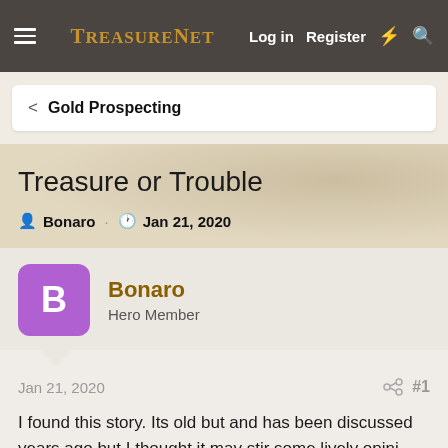TreasureNet  Log in  Register
< Gold Prospecting
Treasure or Trouble
Bonaro  ·  Jan 21, 2020
Bonaro
Hero Member
Jan 21, 2020  #1
I found this story. Its old but and has been discussed years ago but I thought it may stir some lively opini...
Question: Assuming this treasure actually exists, what...